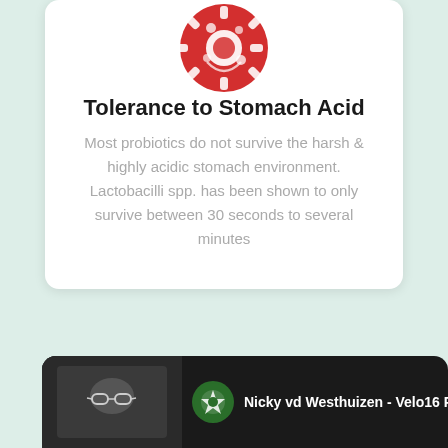[Figure (illustration): Red circular icon with gear/bacteria symbols representing stomach acid]
Tolerance to Stomach Acid
Most probiotics do not survive the harsh & highly acidic stomach environment. Lactobacilli spp. has been shown to only survive between 30 seconds to several minutes
[Figure (screenshot): Video player bar at bottom of screen showing channel icon with green probiotic logo, video title 'Nicky vd Westhuizen - Velo16 Prob...' and a green scroll-up button]